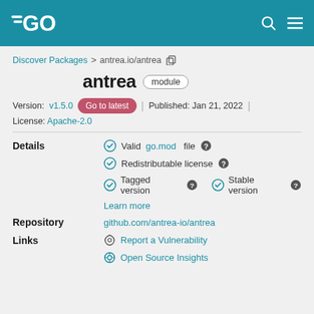Go Packages
Discover Packages > antrea.io/antrea
antrea module
Version: v1.5.0  Go to latest  |  Published: Jan 21, 2022  |  License: Apache-2.0
Details
Valid go.mod file
Redistributable license
Tagged version   Stable version
Learn more
Repository
github.com/antrea-io/antrea
Links
Report a Vulnerability
Open Source Insights